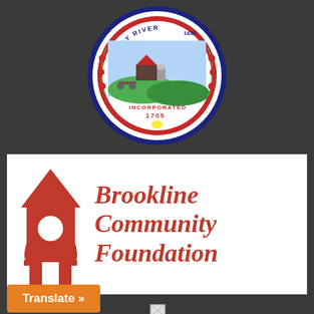[Figure (logo): Brookline town seal — circular seal with text MUDDY RIVER 1630, INCORPORATED 1705, agricultural and town imagery surrounded by a wreath of apples and pomegranates, blue and red border]
[Figure (logo): Brookline Community Foundation logo — red birdhouse/house icon on the left, text 'Brookline Community Foundation' in red serif italic font on white background]
[Figure (other): Small broken/placeholder image icon]
Translate »